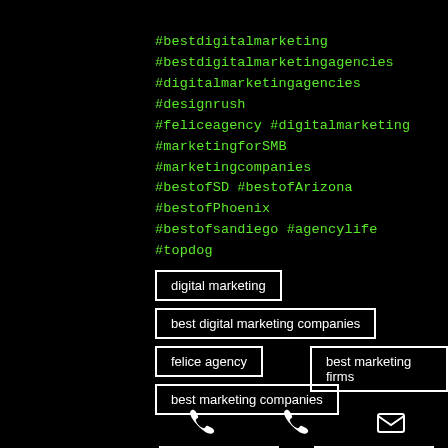#bestdigitalmarketing
#bestdigitalmarketingagencies
#digitalmarketingagencies #designrush
#feliceagency #digitalmarketing
#marketingforSMB #marketingcompanies
#bestofSD #bestofArizona #bestofPhoenix
#bestofsandiego #agencylife #topdog
digital marketing
best digital marketing companies
felice agency
best marketing firms
best marketing companies
[Figure (infographic): Phone and email icons at the bottom of mobile screenshot]